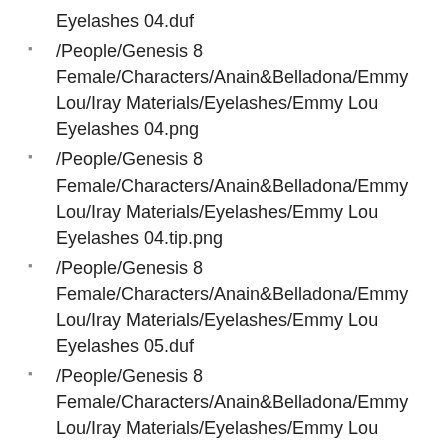Eyelashes 04.duf
/People/Genesis 8 Female/Characters/Anain&Belladona/Emmy Lou/Iray Materials/Eyelashes/Emmy Lou Eyelashes 04.png
/People/Genesis 8 Female/Characters/Anain&Belladona/Emmy Lou/Iray Materials/Eyelashes/Emmy Lou Eyelashes 04.tip.png
/People/Genesis 8 Female/Characters/Anain&Belladona/Emmy Lou/Iray Materials/Eyelashes/Emmy Lou Eyelashes 05.duf
/People/Genesis 8 Female/Characters/Anain&Belladona/Emmy Lou/Iray Materials/Eyelashes/Emmy Lou Eyelashes 05.png
/People/Genesis 8 Female/Characters/Anain&Belladona/Emmy Lou/Iray Materials/Eyelashes/Emmy Lou